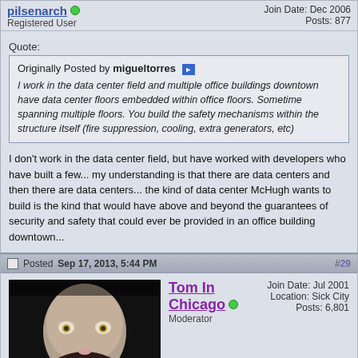pilsenarch | Registered User | Join Date: Dec 2006 | Posts: 877
Quote: Originally Posted by migueltorres — I work in the data center field and multiple office buildings downtown have data center floors embedded within office floors. Sometime spanning multiple floors. You build the safety mechanisms within the structure itself (fire suppression, cooling, extra generators, etc)
I don't work in the data center field, but have worked with developers who have built a few... my understanding is that there are data centers and then there are data centers... the kind of data center McHugh wants to build is the kind that would have above and beyond the guarantees of security and safety that could ever be provided in an office building downtown...
Posted Sep 17, 2013, 5:44 PM #29
Tom In Chicago | Moderator | Join Date: Jul 2001 | Location: Sick City | Posts: 6,801